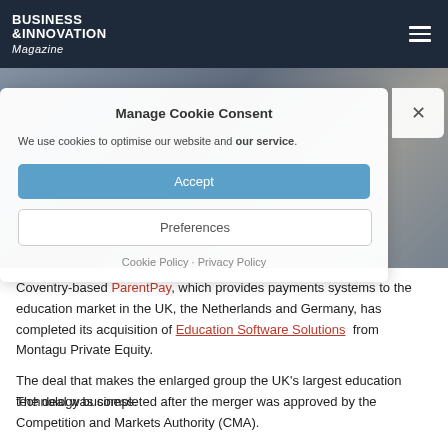BUSINESS & INNOVATION Magazine
[Figure (photo): Background photo of a person in a vest/waistcoat, partially obscured by cookie consent modal overlay]
Manage Cookie Consent
We use cookies to optimise our website and our service.
Accept
Preferences
Cookie Policy · Privacy Policy
Coventry-based ParentPay, which provides payments systems to the education market in the UK, the Netherlands and Germany, has completed its acquisition of Education Software Solutions from Montagu Private Equity.
The deal that makes the enlarged group the UK's largest education technology business.
The deal was completed after the merger was approved by the Competition and Markets Authority (CMA).